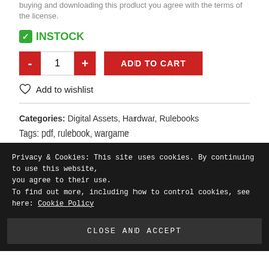buying and downloading this product you agree with the terms of the license.
✔ INSTOCK
- 1 + ADD TO CART
♡ Add to wishlist
Categories: Digital Assets, Hardwar, Rulebooks
Tags: pdf, rulebook, wargame
Share:
f  𝕏  G+  in  𝕡
Privacy & Cookies: This site uses cookies. By continuing to use this website, you agree to their use.
To find out more, including how to control cookies, see here: Cookie Policy
CLOSE AND ACCEPT